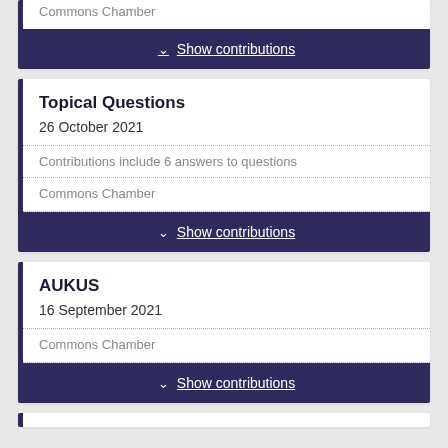Commons Chamber
Show contributions
Topical Questions
26 October 2021
Contributions include 6 answers to questions
Commons Chamber
Show contributions
AUKUS
16 September 2021
Commons Chamber
Show contributions